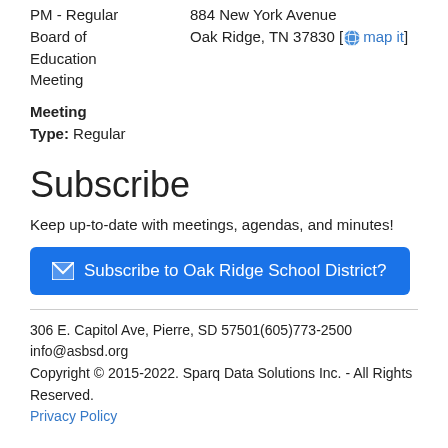PM - Regular Board of Education Meeting
884 New York Avenue Oak Ridge, TN 37830 [map it]
Meeting Type: Regular
Subscribe
Keep up-to-date with meetings, agendas, and minutes!
Subscribe to Oak Ridge School District?
306 E. Capitol Ave, Pierre, SD 57501(605)773-2500
info@asbsd.org
Copyright © 2015-2022. Sparq Data Solutions Inc. - All Rights Reserved.
Privacy Policy